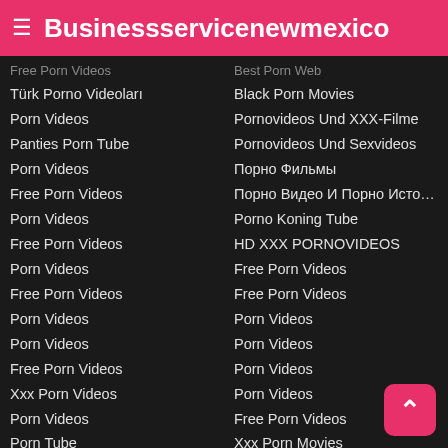Businessservicenewmexico
Free Porn Videos (truncated top)
Türk Porno Videoları
Porn Videos
Panties Porn Tube
Porn Videos
Free Porn Videos
Porn Videos
Free Porn Videos
Porn Videos
Free Porn Videos
Porn Videos
Porn Videos
Free Porn Videos
Xxx Porn Videos
Porn Videos
Porn Tube
Porn Videos
Free Porn Videos Tube
Free Porn Videos
Porn Videos Tube
Porn Videos
Best Porn Web (truncated top)
Black Porn Movies
Pornovideos Und XXX-Filme
Pornovideos Und Sexvideos
Порно Фильмы
Порно Видео И Порно Истор...
Porno Koning Tube
HD XXX PORNOVIDEOS
Free Porn Videos
Free Porn Videos
Porn Videos
Porn Videos
Porn Videos
Porn Videos
Free Porn Videos
Xxx Porn Movies
Porn Tube
Free PORN Videos
Porn Videos
Free Porn Videos
Xxx Porn Videos